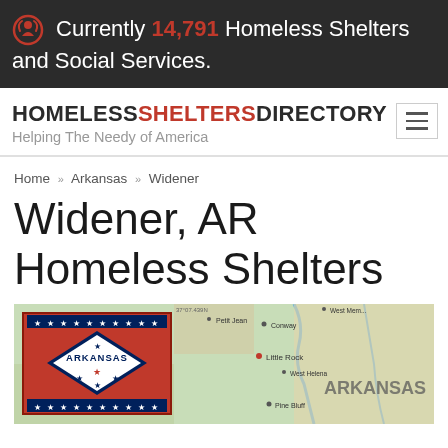Currently 14,791 Homeless Shelters and Social Services.
HOMELESSSHELTERSDIRECTORY Helping The Needy of America
Home » Arkansas » Widener
Widener, AR Homeless Shelters
[Figure (map): Map of Arkansas with Arkansas state flag overlay showing red background with blue diamond, white diamond, stars, and ARKANSAS text. The map shows geographic features of Arkansas including cities like Little Rock, Conway, Pine Bluff.]